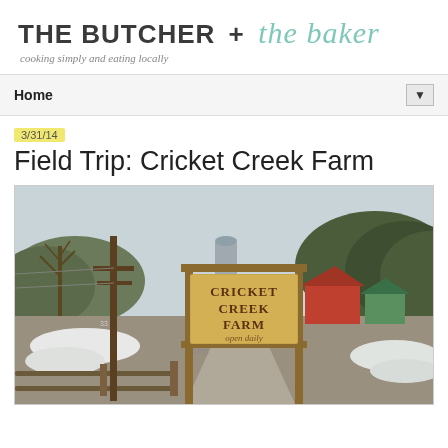THE BUTCHER + the baker
cooking simply and eating locally
Home
3/31/14
Field Trip: Cricket Creek Farm
[Figure (photo): Photograph of Cricket Creek Farm entrance sign on a wooden post frame reading CRICKET CREEK FARM open daily, with a rural road, bare winter trees, farm buildings, a silo, and patches of snow visible in the background.]